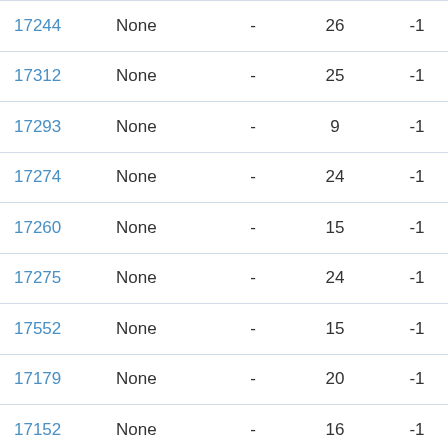| ID | Type | - | Col1 | Col2 | Action |
| --- | --- | --- | --- | --- | --- |
| 17244 | None | - | 26 | -1 | Manual |
| 17312 | None | - | 25 | -1 | Manual |
| 17293 | None | - | 9 | -1 | Manual |
| 17274 | None | - | 24 | -1 | Manual |
| 17260 | None | - | 15 | -1 | Manual |
| 17275 | None | - | 24 | -1 | Manual |
| 17552 | None | - | 15 | -1 | Manual |
| 17179 | None | - | 20 | -1 | Manual |
| 17152 | None | - | 16 | -1 | Manual |